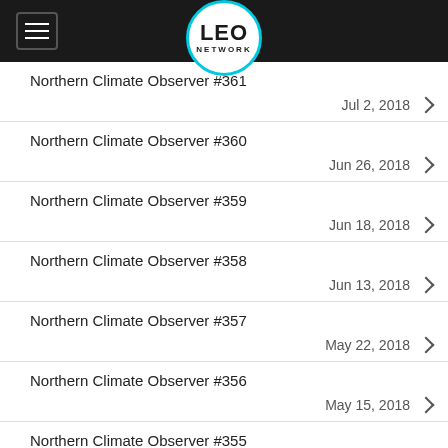LEO NETWORK
Northern Climate Observer #361 — Jul 2, 2018
Northern Climate Observer #360 — Jun 26, 2018
Northern Climate Observer #359 — Jun 18, 2018
Northern Climate Observer #358 — Jun 13, 2018
Northern Climate Observer #357 — May 22, 2018
Northern Climate Observer #356 — May 15, 2018
Northern Climate Observer #355 — May 7, 2018